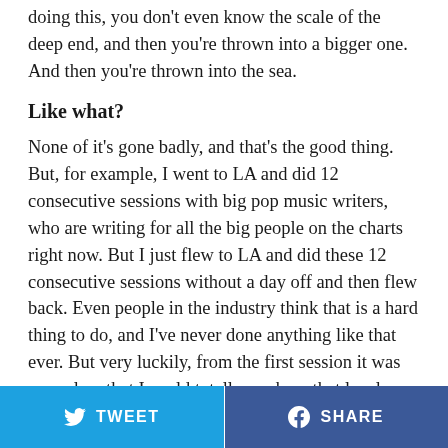doing this, you don't even know the scale of the deep end, and then you're thrown into a bigger one. And then you're thrown into the sea.
Like what?
None of it's gone badly, and that's the good thing. But, for example, I went to LA and did 12 consecutive sessions with big pop music writers, who are writing for all the big people on the charts right now. But I just flew to LA and did these 12 consecutive sessions without a day off and then flew back. Even people in the industry think that is a hard thing to do, and I've never done anything like that ever. But very luckily, from the first session it was very clear that I could totally work on that level instantly. Which was very comforting to see.
TWEET  SHARE